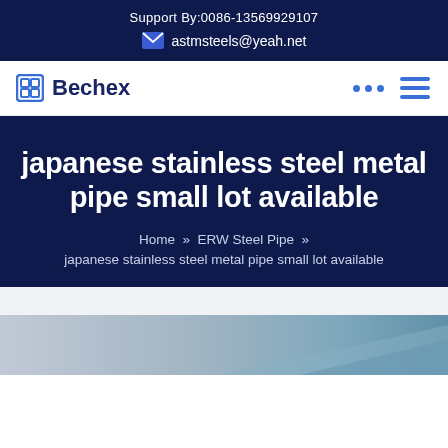Support By:0086-13569929107
astmsteels@yeah.net
Bechex
japanese stainless steel metal pipe small lot available
Home » ERW Steel Pipe » japanese stainless steel metal pipe small lot available
[Figure (photo): Bottom portion of a steel pipe product image with silver-gray metallic gradient background]